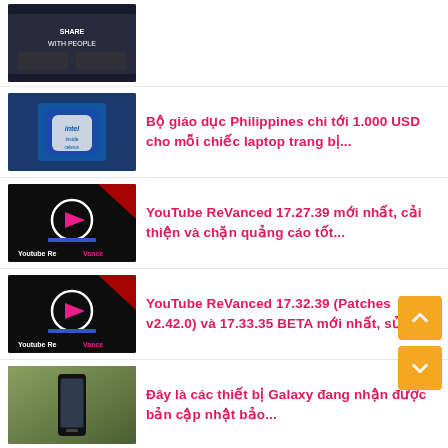[Figure (photo): Partially visible thumbnail at top - dark image with text 'SHARE WITH PEOPLE']
Bộ giáo dục Philippines chi tới 1.000 USD cho mỗi chiếc laptop trang bị...
YouTube ReVanced 17.27.39 mới nhất, cải thiện và chặn quảng cáo tốt...
YouTube ReVanced 17.32.39 (Patches v2.42.0) và 17.33.35 BETA mới nhất, sửa...
Đây là các thiết bị Galaxy đang nhận được bản cập nhật bảo...
Kỹ sư lỡ tay vứt ổ cứng chứa 7.500 Bitcoin nghĩ ra ý tưởng mới...
Mời tải uYouPlus v17.26.2-2.1 mới nhất, sửa lỗi và cải thiện tốt...